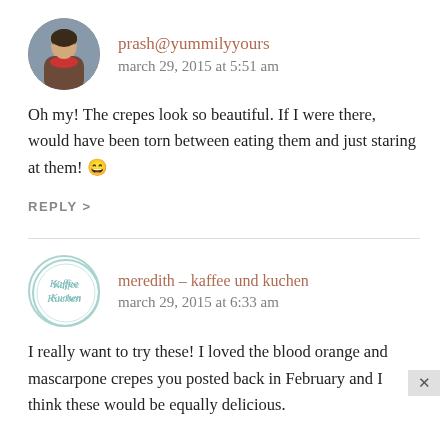[Figure (photo): Circular avatar photo of a woman with a red scarf, dark hair, outdoors]
prash@yummilyyours
march 29, 2015 at 5:51 am
Oh my! The crepes look so beautiful. If I were there, would have been torn between eating them and just staring at them! 😄
REPLY >
[Figure (logo): Circular logo for Kaffee Kuchen with teal/mint border and handwritten style text]
meredith - kaffee und kuchen
march 29, 2015 at 6:33 am
I really want to try these! I loved the blood orange and mascarpone crepes you posted back in February and I think these would be equally delicious.